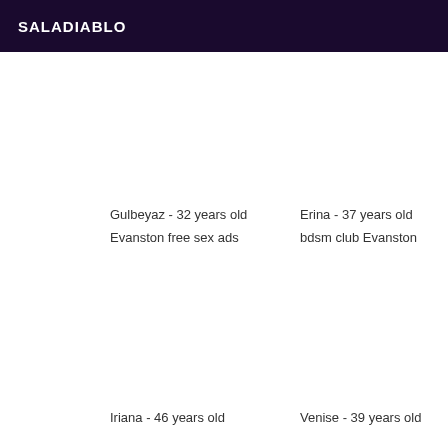SALADIABLO
Gulbeyaz - 32 years old
Evanston free sex ads
Erina - 37 years old
bdsm club Evanston
Iriana - 46 years old
Venise - 39 years old